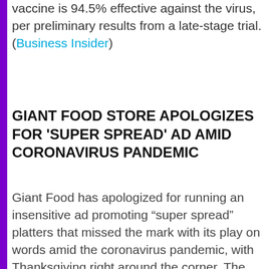vaccine is 94.5% effective against the virus, per preliminary results from a late-stage trial. (Business Insider)
GIANT FOOD STORE APOLOGIZES FOR 'SUPER SPREAD' AD AMID CORONAVIRUS PANDEMIC
Giant Food has apologized for running an insensitive ad promoting “super spread” platters that missed the mark with its play on words amid the coronavirus pandemic, with Thanksgiving right around the corner. The major grocer is now expressing remorse for the controversial circular, which ran as a full-page ad in its branded magazine, Savory. Giant Food operates 164 locations across Delaware, Maryland, Virginia and Washing t...